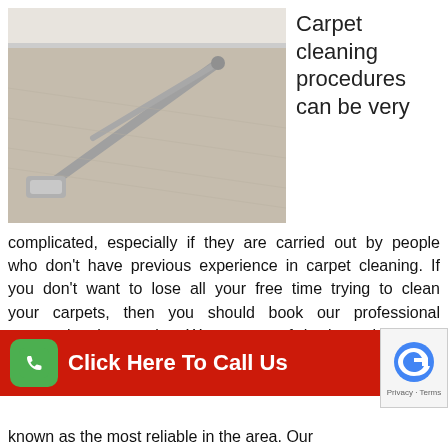[Figure (photo): Carpet cleaning machine/wand being used on a grey/beige carpet, close-up view]
Carpet cleaning procedures can be very
complicated, especially if they are carried out by people who don't have previous experience in carpet cleaning. If you don't want to lose all your free time trying to clean your carpets, then you should book our professional carpet cleaning service. We are one of the best cleaning companies in the region and we are known as the most reliable in the area. Our known as the most reliable in the area. Our